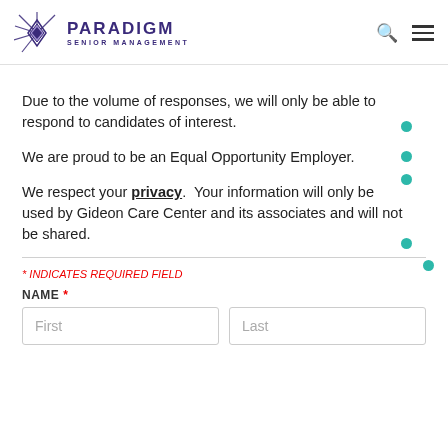Paradigm Senior Management
Due to the volume of responses, we will only be able to respond to candidates of interest.
We are proud to be an Equal Opportunity Employer.
We respect your privacy. Your information will only be used by Gideon Care Center and its associates and will not be shared.
* INDICATES REQUIRED FIELD
NAME *